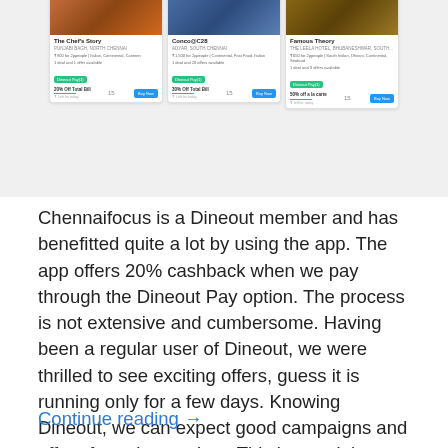[Figure (screenshot): Screenshot of Dineout app showing three restaurant cards: The Chef's Story, Conco@C28, and Famous Theory, each with discount offers and a Buy Now button]
Chennaifocus is a Dineout member and has benefitted quite a lot by using the app. The app offers 20% cashback when we pay through the Dineout Pay option. The process is not extensive and cumbersome. Having been a regular user of Dineout, we were thrilled to see exciting offers, guess it is running only for a few days. Knowing Dineout, we can expect good campaigns and offers from time to time. This is certainly our own personal review of Dineout as a user, and we have always been true to our experience.
Continue reading →